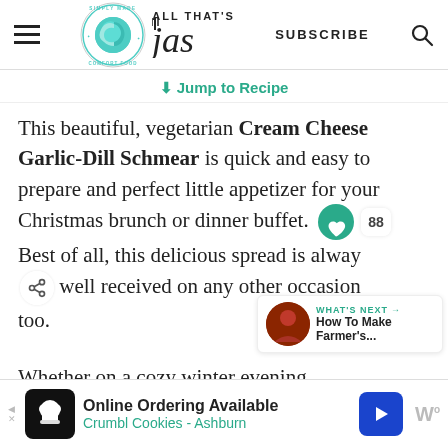ALL THAT'S Jas — SUBSCRIBE [search icon]
Jump to Recipe
This beautiful, vegetarian Cream Cheese Garlic-Dill Schmear is quick and easy to prepare and perfect little appetizer for your Christmas brunch or dinner buffet. Best of all, this delicious spread is always well received on any other occasion too.
Whether on a cozy winter evening, toasted bread or sunny summer day with
Online Ordering Available
Crumbl Cookies - Ashburn